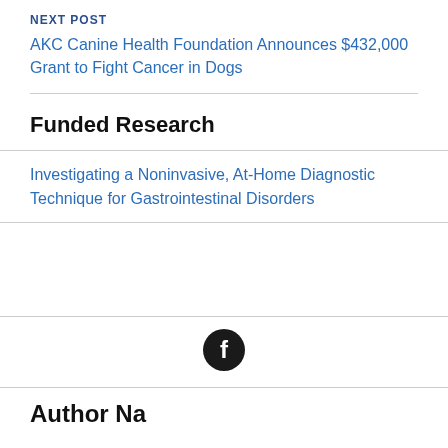NEXT POST
AKC Canine Health Foundation Announces $432,000 Grant to Fight Cancer in Dogs
Funded Research
Investigating a Noninvasive, At-Home Diagnostic Technique for Gastrointestinal Disorders
[Figure (logo): Facebook social media icon — white letter f on black circle]
Author Name (partially visible)